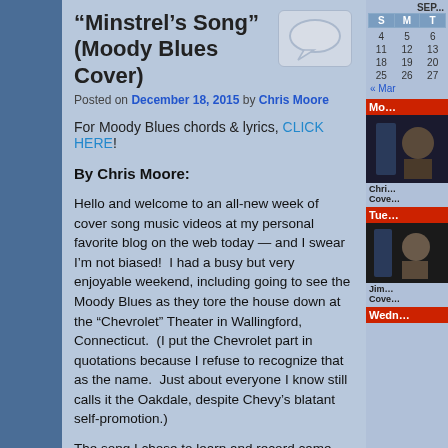“Minstrel’s Song” (Moody Blues Cover)
Posted on December 18, 2015 by Chris Moore
For Moody Blues chords & lyrics, CLICK HERE!
By Chris Moore:
Hello and welcome to an all-new week of cover song music videos at my personal favorite blog on the web today — and I swear I’m not biased!  I had a busy but very enjoyable weekend, including going to see the Moody Blues as they tore the house down at the “Chevrolet” Theater in Wallingford, Connecticut.  (I put the Chevrolet part in quotations because I refuse to recognize that as the name.  Just about everyone I know still calls it the Oakdale, despite Chevy’s blatant self-promotion.)
The song I chose to learn and record came out of the music histor...
[Figure (other): Comment bubble icon (speech bubble graphic)]
[Figure (other): Sidebar calendar for September with nav link to Mar]
[Figure (other): Sidebar block: Mon - Chris Cover photo]
[Figure (other): Sidebar block: Tue - Jim Cover photo]
[Figure (other): Sidebar block: Wedn...]